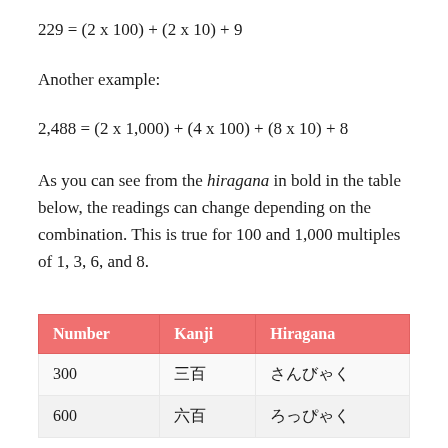Another example:
As you can see from the hiragana in bold in the table below, the readings can change depending on the combination. This is true for 100 and 1,000 multiples of 1, 3, 6, and 8.
| Number | Kanji | Hiragana |
| --- | --- | --- |
| 300 | 三百 | さんびゃく |
| 600 | 六百 | ろっぴゃく |